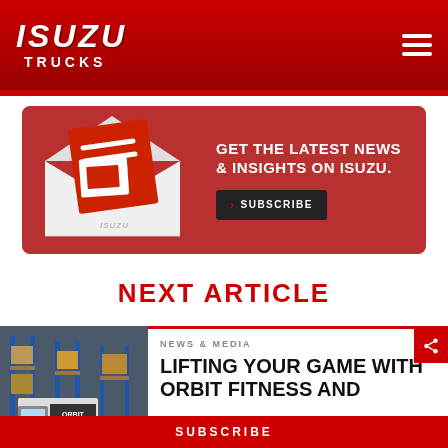ISUZU TRUCKS
[Figure (infographic): Newsletter subscription banner with envelope illustration on red background. Text: GET THE LATEST NEWS & INSIGHTS ON ISUZU. with SUBSCRIBE button.]
NEXT ARTICLE
NEWS & MEDIA
LIFTING YOUR GAME WITH ORBIT FITNESS AND
SUBSCRIBE